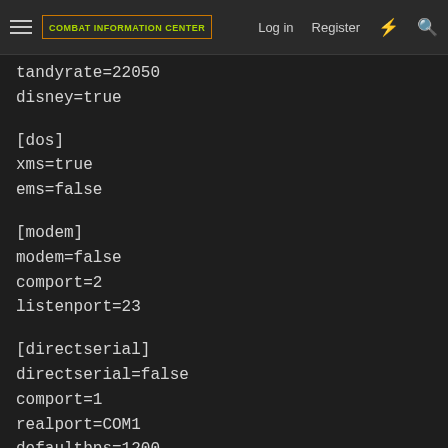COMBAT INFORMATION CENTER | Log in | Register
tandyrate=22050
disney=true
[dos]
xms=true
ems=false
[modem]
modem=false
comport=2
listenport=23
[directserial]
directserial=false
comport=1
realport=COM1
defaultbps=1200
parity=N
bytesize=8
stopbit=1